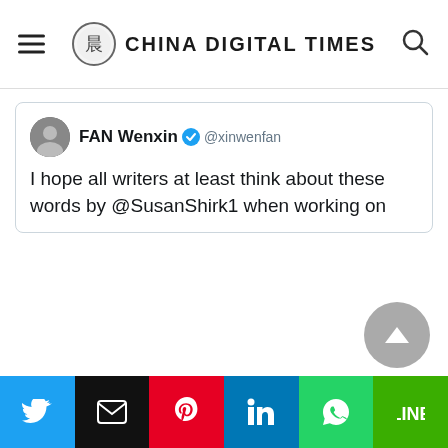China Digital Times
[Figure (screenshot): Tweet by FAN Wenxin (@xinwenfan) with verified badge. Text: 'I hope all writers at least think about these words by @SusanShirk1 when working on']
Share buttons: Twitter, Email, Pinterest, LinkedIn, WhatsApp, LINE